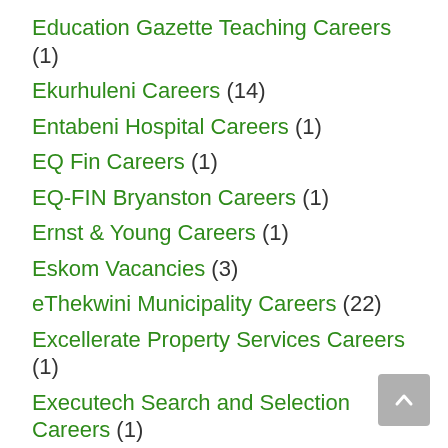Education Gazette Teaching Careers (1)
Ekurhuleni Careers (14)
Entabeni Hospital Careers (1)
EQ Fin Careers (1)
EQ-FIN Bryanston Careers (1)
Ernst & Young Careers (1)
Eskom Vacancies (3)
eThekwini Municipality Careers (22)
Excellerate Property Services Careers (1)
Executech Search and Selection Careers (1)
Executive Fit Vacancies (2)
Extraordinary Futures Careers (1)
Exxaro Careers (1)